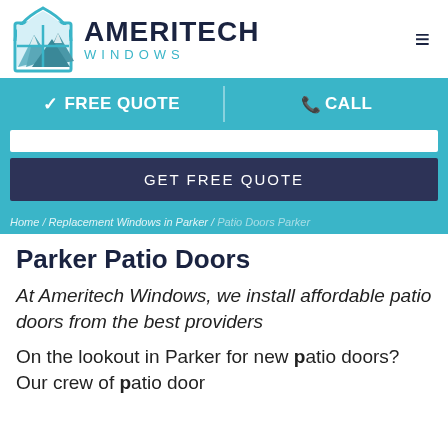[Figure (logo): Ameritech Windows logo with mountain/window icon, brand name AMERITECH in dark navy bold, WINDOWS in teal spaced letters, and hamburger menu icon on the right]
✓ FREE QUOTE   📞CALL
GET FREE QUOTE
Home / Replacement Windows in Parker / Patio Doors Parker
Parker Patio Doors
At Ameritech Windows, we install affordable patio doors from the best providers
On the lookout in Parker for new patio doors? Our crew of patio door